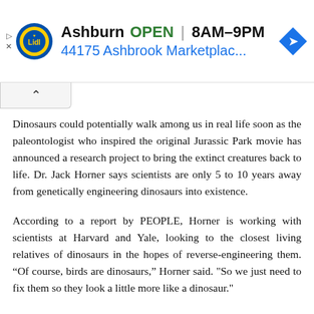[Figure (screenshot): Lidl store advertisement banner showing Ashburn location, OPEN status, hours 8AM–9PM, address 44175 Ashbrook Marketplac..., with Lidl logo and navigation arrow icon]
Dinosaurs could potentially walk among us in real life soon as the paleontologist who inspired the original Jurassic Park movie has announced a research project to bring the extinct creatures back to life. Dr. Jack Horner says scientists are only 5 to 10 years away from genetically engineering dinosaurs into existence.
According to a report by PEOPLE, Horner is working with scientists at Harvard and Yale, looking to the closest living relatives of dinosaurs in the hopes of reverse-engineering them. “Of course, birds are dinosaurs,” Horner said. "So we just need to fix them so they look a little more like a dinosaur."